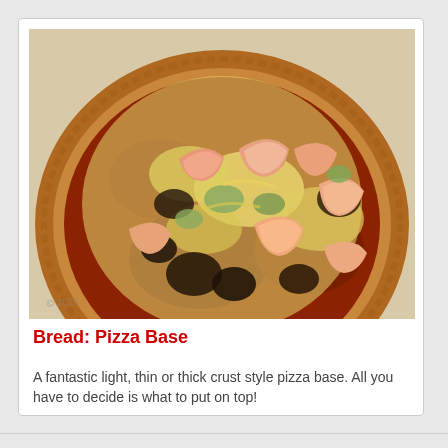[Figure (photo): A round pizza with shrimp, mushrooms, melted cheese and tomato sauce on a light background, photographed from above at a slight angle.]
Bread: Pizza Base
A fantastic light, thin or thick crust style pizza base. All you have to decide is what to put on top!